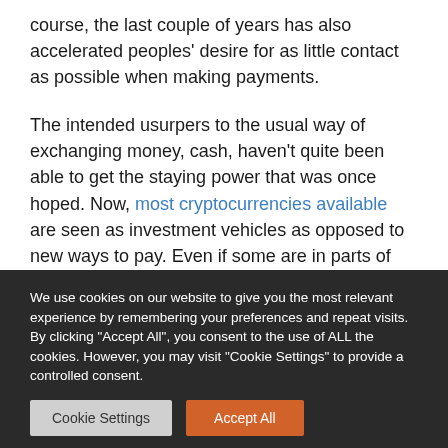course, the last couple of years has also accelerated peoples' desire for as little contact as possible when making payments.
The intended usurpers to the usual way of exchanging money, cash, haven't quite been able to get the staying power that was once hoped. Now, most cryptocurrencies available are seen as investment vehicles as opposed to new ways to pay. Even if some are in parts of the world, it seems unlikely that the somewhat complicated scene would be able to go mainstream in major markets as a primary
We use cookies on our website to give you the most relevant experience by remembering your preferences and repeat visits. By clicking "Accept All", you consent to the use of ALL the cookies. However, you may visit "Cookie Settings" to provide a controlled consent.